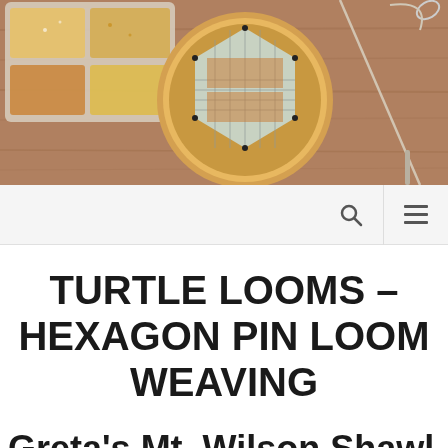[Figure (photo): Header banner photo showing a turtle loom pin loom weaving project on a circular wooden embroidery hoop, with beads in the upper left and a needle and thread on the right, on a wooden surface background.]
TURTLE LOOMS – HEXAGON PIN LOOM WEAVING
Greta's Mt. Wilson Shawl